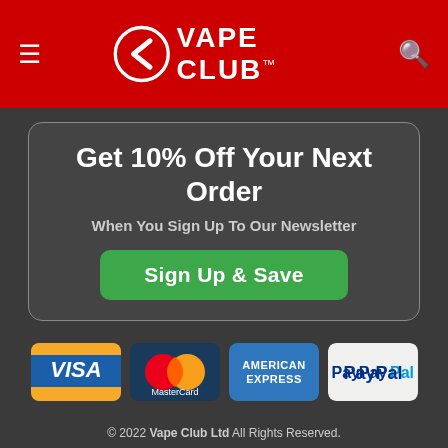Vape Club
Get 10% Off Your Next Order
When You Sign Up To Our Newsletter
Sign Up & Save
[Figure (other): Payment method logos: VISA, MasterCard, American Express, PayPal]
© 2022 Vape Club Ltd All Rights Reserved. We accept all major debit/credit cards and PayPal payments. You have to be over 18 to purchase from this website. UK Company Registration Number: 09181075. VAT Number: ...